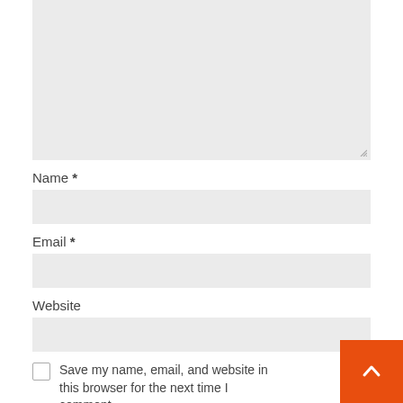[Figure (screenshot): Textarea input field with light gray background and resize handle at bottom-right]
Name *
[Figure (screenshot): Name input field with light gray background]
Email *
[Figure (screenshot): Email input field with light gray background]
Website
[Figure (screenshot): Website input field with light gray background]
Save my name, email, and website in this browser for the next time I comment.
Post Comment